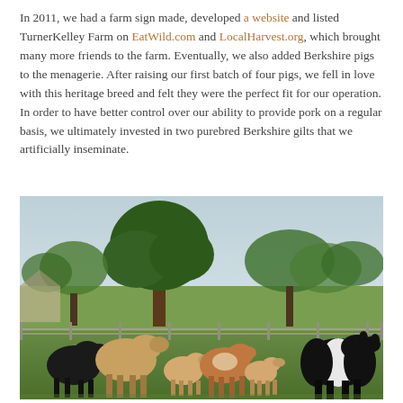In 2011, we had a farm sign made, developed a website and listed TurnerKelley Farm on EatWild.com and LocalHarvest.org, which brought many more friends to the farm. Eventually, we also added Berkshire pigs to the menagerie. After raising our first batch of four pigs, we fell in love with this heritage breed and felt they were the perfect fit for our operation. In order to have better control over our ability to provide pork on a regular basis, we ultimately invested in two purebred Berkshire gilts that we artificially inseminate.
[Figure (photo): A group of cattle (various colors — black, tan, brown, black and white belted) standing in a green pasture with trees and a fence in the background.]